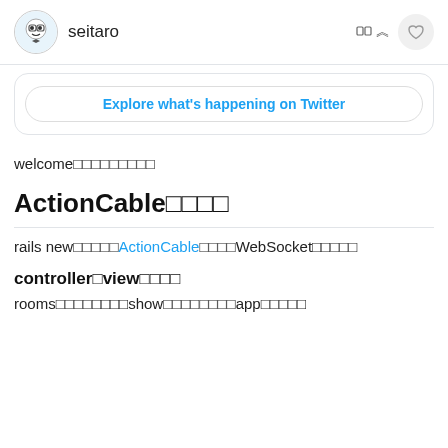seitaro
Explore what's happening on Twitter
welcome
ActionCable
rails new　　　　　ActionCable　　　　WebSocket
controller　view
rooms　　　　　　　　show　　　　　　　　app